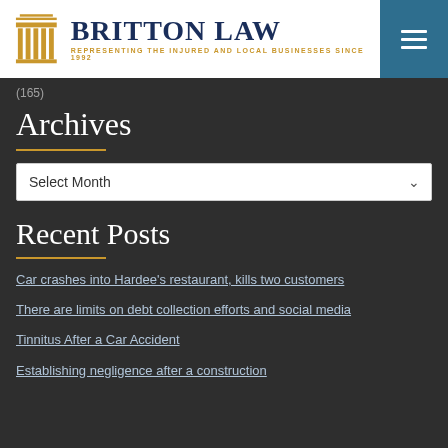BRITTON LAW — REPRESENTING THE INJURED AND LOCAL BUSINESSES SINCE 1992
(165)
Archives
Select Month
Recent Posts
Car crashes into Hardee's restaurant, kills two customers
There are limits on debt collection efforts and social media
Tinnitus After a Car Accident
Establishing negligence after a construction accident